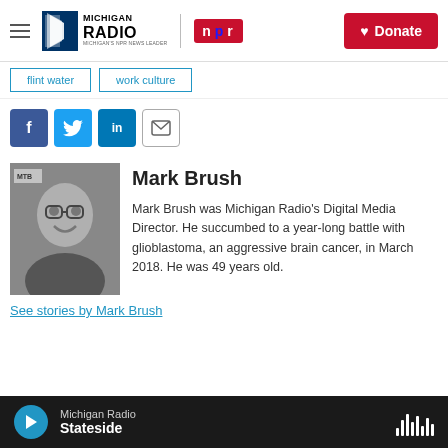Michigan Radio — NPR — Donate
flint water
work culture
[Figure (other): Social share icons: Facebook, Twitter, LinkedIn, Email]
[Figure (photo): Black and white photo of Mark Brush smiling, with MTB sign visible in background]
Mark Brush
Mark Brush was Michigan Radio's Digital Media Director. He succumbed to a year-long battle with glioblastoma, an aggressive brain cancer, in March 2018. He was 49 years old.
See stories by Mark Brush
Michigan Radio — Stateside (audio player)